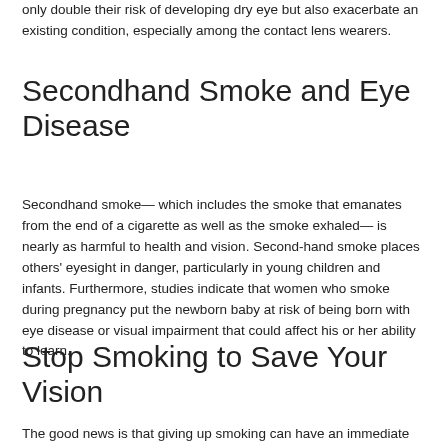only double their risk of developing dry eye but also exacerbate an existing condition, especially among the contact lens wearers.
Secondhand Smoke and Eye Disease
Secondhand smoke— which includes the smoke that emanates from the end of a cigarette as well as the smoke exhaled— is nearly as harmful to health and vision. Second-hand smoke places others' eyesight in danger, particularly in young children and infants. Furthermore, studies indicate that women who smoke during pregnancy put the newborn baby at risk of being born with eye disease or visual impairment that could affect his or her ability to learn.
Stop Smoking to Save Your Vision
The good news is that giving up smoking can have an immediate effect on your health — and it's never too late to quit! Once the